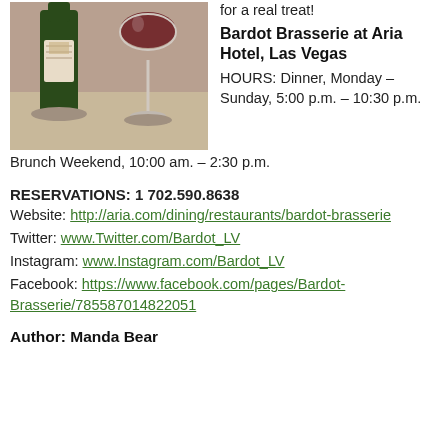[Figure (photo): Photo of a wine bottle with a chateau label and a glass of red wine on a table]
for a real treat!
Bardot Brasserie at Aria Hotel, Las Vegas
HOURS: Dinner, Monday – Sunday, 5:00 p.m. – 10:30 p.m.
Brunch Weekend, 10:00 am. – 2:30 p.m.
RESERVATIONS: 1 702.590.8638
Website: http://aria.com/dining/restaurants/bardot-brasserie
Twitter: www.Twitter.com/Bardot_LV
Instagram: www.Instagram.com/Bardot_LV
Facebook: https://www.facebook.com/pages/Bardot-Brasserie/785587014822051
Author: Manda Bear